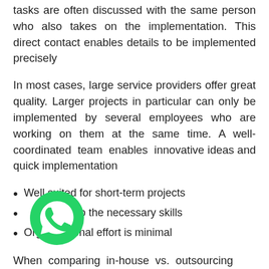tasks are often discussed with the same person who also takes on the implementation. This direct contact enables details to be implemented precisely
In most cases, large service providers offer great quality. Larger projects in particular can only be implemented by several employees who are working on them at the same time. A well-coordinated team enables innovative ideas and quick implementation
Well suited for short-term projects
ess to the necessary skills
Organizational effort is minimal
When comparing in-house vs. outsourcing